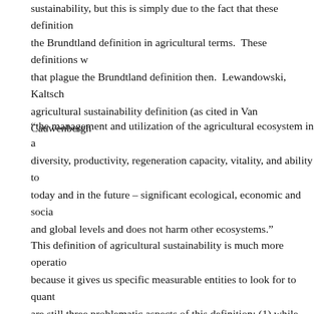sustainability, but this is simply due to the fact that these definitions restate the Brundtland definition in agricultural terms. These definitions will have that plague the Brundtland definition then. Lewandowski, Kaltschmitt agricultural sustainability definition (as cited in Van Cauwenbergh
“the management and utilization of the agricultural ecosystem in a diversity, productivity, regeneration capacity, vitality, and ability to today and in the future – significant ecological, economic and social and global levels and does not harm other ecosystems.”
This definition of agricultural sustainability is much more operational because it gives us specific measurable entities to look for to quantify. There are still three problematic aspects of this definition: (1) while the quantities are specified, the target values of these quantities are not specified; it may fall on agriculturalists to supply target quantities for the biotic factors and quantities for social factors (including economics), but such values